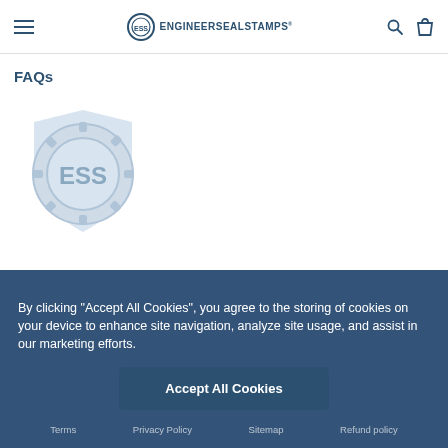ENGINEERERSEALSTAMPS
FAQs
[Figure (logo): Engineer Seal Stamps (ESS) circular logo with gear border and shield shape in light blue/grey]
By clicking “Accept All Cookies”, you agree to the storing of cookies on your device to enhance site navigation, analyze site usage, and assist in our marketing efforts.
Accept All Cookies
Terms  Privacy Policy  Sitemap  Refund policy